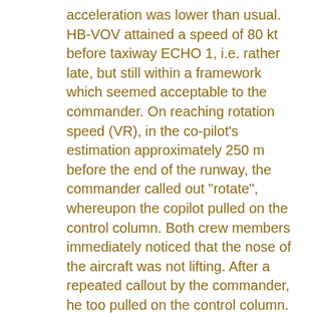acceleration was lower than usual. HB-VOV attained a speed of 80 kt before taxiway ECHO 1, i.e. rather late, but still within a framework which seemed acceptable to the commander. On reaching rotation speed (VR), in the co-pilot's estimation approximately 250 m before the end of the runway, the commander called out "rotate", whereupon the copilot pulled on the control column. Both crew members immediately noticed that the nose of the aircraft was not lifting. After a repeated callout by the commander, he too pulled on the control column. On overshooting the end of the runway, the right main landing gear of HB-VOV struck a "end-of-runway" light, which was perceived by the crew as a distinctly noticeable impact. On the transition from the runway to the grass, the copilot, according to his statement, had the feeling that it was no longer possible to continue the takeoff and briefly reduced power. But at approximately the same time, the copilot